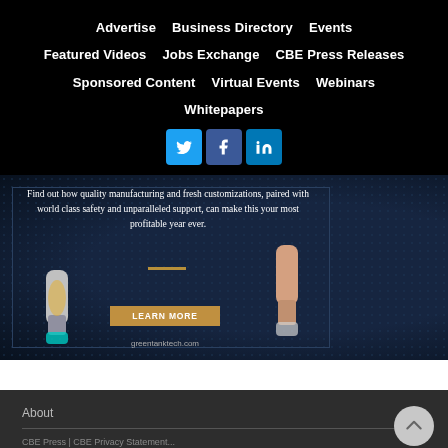Advertise | Business Directory | Events | Featured Videos | Jobs Exchange | CBE Press Releases | Sponsored Content | Virtual Events | Webinars | Whitepapers
[Figure (illustration): Social media icons for Twitter, Facebook, and LinkedIn as square buttons with rounded corners]
[Figure (photo): Advertisement for greentanktech.com showing two vape/cartridge devices on a dark blue dotted background. Text reads: Find out how quality manufacturing and fresh customizations, paired with world class safety and unparalleled support, can make this your most profitable year ever. LEARN MORE. greentanktech.com]
About
About